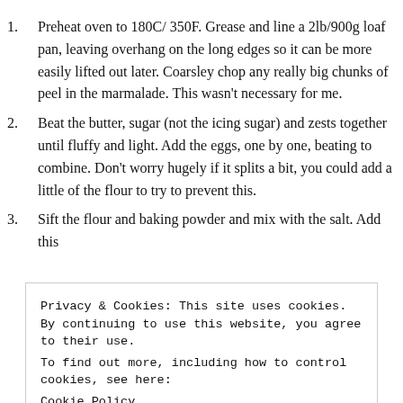Preheat oven to 180C/ 350F. Grease and line a 2lb/900g loaf pan, leaving overhang on the long edges so it can be more easily lifted out later. Coarsley chop any really big chunks of peel in the marmalade. This wasn't necessary for me.
Beat the butter, sugar (not the icing sugar) and zests together until fluffy and light. Add the eggs, one by one, beating to combine. Don't worry hugely if it splits a bit, you could add a little of the flour to try to prevent this.
Sift the flour and baking powder and mix with the salt. Add this
Privacy & Cookies: This site uses cookies. By continuing to use this website, you agree to their use.
To find out more, including how to control cookies, see here:
Cookie Policy
Close and accept